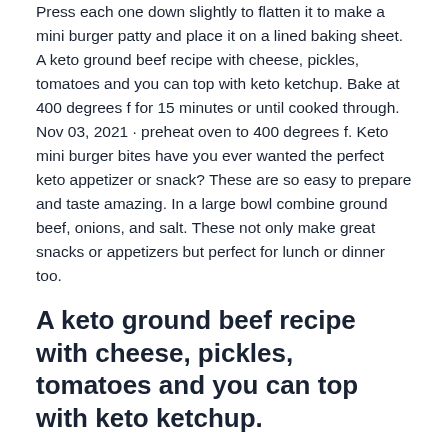Press each one down slightly to flatten it to make a mini burger patty and place it on a lined baking sheet. A keto ground beef recipe with cheese, pickles, tomatoes and you can top with keto ketchup. Bake at 400 degrees f for 15 minutes or until cooked through. Nov 03, 2021 · preheat oven to 400 degrees f. Keto mini burger bites have you ever wanted the perfect keto appetizer or snack? These are so easy to prepare and taste amazing. In a large bowl combine ground beef, onions, and salt. These not only make great snacks or appetizers but perfect for lunch or dinner too.
A keto ground beef recipe with cheese, pickles, tomatoes and you can top with keto ketchup.
In a large bowl combine ground beef, onions, and salt. Press each one down slightly to flatten it to make a mini burger patty and place it on a lined baking sheet. Bake at 400 degrees f for 15 minutes or until cooked through. Roll the beef into 1.5 ounce balls. These not only make great snacks or appetizers but perfect for lunch or dinner too. How about low carb keto mini burger bites? These are